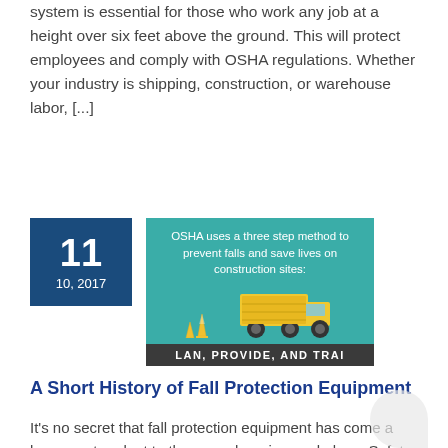system is essential for those who work any job at a height over six feet above the ground. This will protect employees and comply with OSHA regulations. Whether your industry is shipping, construction, or warehouse labor, [...]
[Figure (infographic): Date badge showing 11 / 10, 2017 in dark blue, alongside a teal infographic thumbnail with text 'OSHA uses a three step method to prevent falls and save lives on construction sites:' and a truck with traffic cones illustration, and a dark footer banner reading 'LAN, PROVIDE, AND TRAI']
A Short History of Fall Protection Equipment
It's no secret that fall protection equipment has come a long way to adapt to the ever-changing workplace. Safety